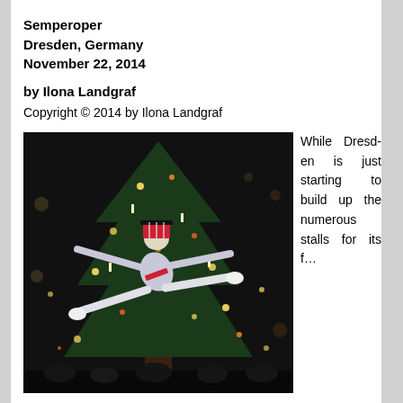Semperoper
Dresden, Germany
November 22, 2014
by Ilona Landgraf
Copyright © 2014 by Ilona Landgraf
[Figure (photo): A ballet dancer in a nutcracker soldier costume performing a dramatic leap in front of a decorated Christmas tree with twinkling lights.]
While Dresden is just starting to build up the numerous stalls for its f…